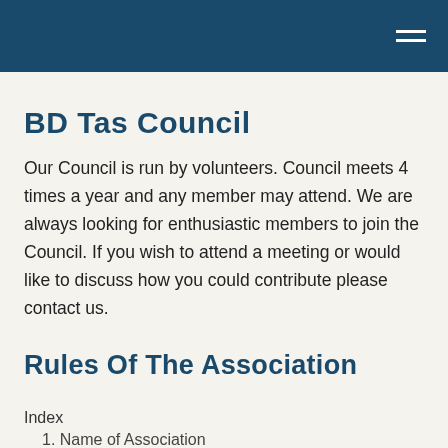BD Tas Council
Our Council is run by volunteers. Council meets 4 times a year and any member may attend. We are always looking for enthusiastic members to join the Council. If you wish to attend a meeting or would like to discuss how you could contribute please contact us.
Rules Of The Association
Index
1. Name of Association